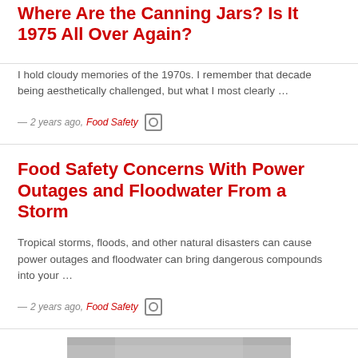Where Are the Canning Jars? Is It 1975 All Over Again?
I hold cloudy memories of the 1970s. I remember that decade being aesthetically challenged, but what I most clearly …
— 2 years ago,  Food Safety  [icon]
Food Safety Concerns With Power Outages and Floodwater From a Storm
Tropical storms, floods, and other natural disasters can cause power outages and floodwater can bring dangerous compounds into your …
— 2 years ago,  Food Safety  [icon]
[Figure (photo): Thumbnail image at bottom of page, partially visible grayscale photo]